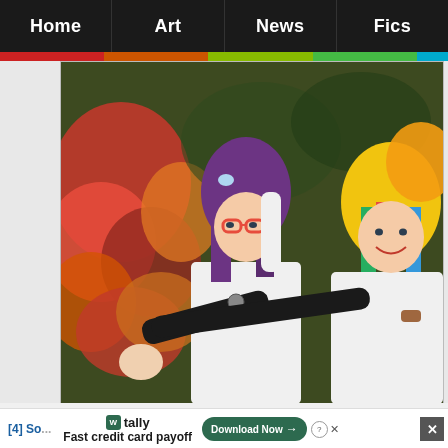Home | Art | News | Fics
[Figure (photo): Two women in cosplay costumes. Left woman has purple hair, pink glasses, and a white outfit with a badge, pointing at camera. Right woman has rainbow-colored hair and a white t-shirt, smiling. Background shows red and orange autumn leaves.]
[4] So...
tally  Fast credit card payoff  Download Now →